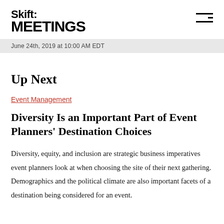Skift MEETINGS
June 24th, 2019 at 10:00 AM EDT
Up Next
Event Management
Diversity Is an Important Part of Event Planners' Destination Choices
Diversity, equity, and inclusion are strategic business imperatives event planners look at when choosing the site of their next gathering. Demographics and the political climate are also important facets of a destination being considered for an event.